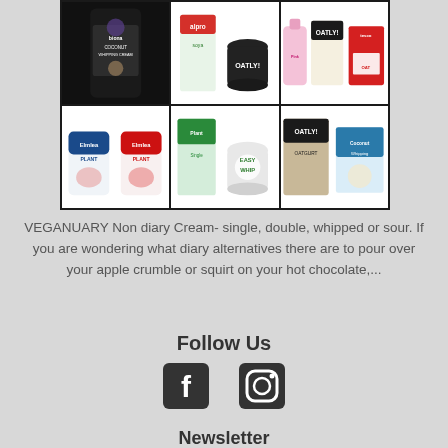[Figure (photo): Collage of non-dairy cream products in a dark-bordered grid: Biona Coconut Whipping Cream, Alpro products, Oatly, Elmlea Plant double/single, Easy Whip, and coconut cream alternatives]
VEGANUARY Non diary Cream- single, double, whipped or sour. If you are wondering what diary alternatives there are to pour over your apple crumble or squirt on your hot chocolate,...
Follow Us
[Figure (illustration): Facebook and Instagram social media icons]
Newsletter